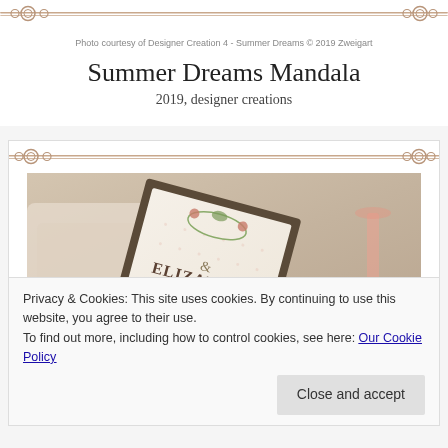Photo courtesy of Designer Creation 4 - Summer Dreams © 2019 Zweigart
Summer Dreams Mandala
2019, designer creations
[Figure (photo): Embroidered piece showing names ELIZABETH JONATHAN and date 02 MARCH, with floral and mandala cross-stitch design, displayed tilted on a decorative background with flowers and a glass of rosé wine]
Privacy & Cookies: This site uses cookies. By continuing to use this website, you agree to their use.
To find out more, including how to control cookies, see here: Our Cookie Policy
Close and accept